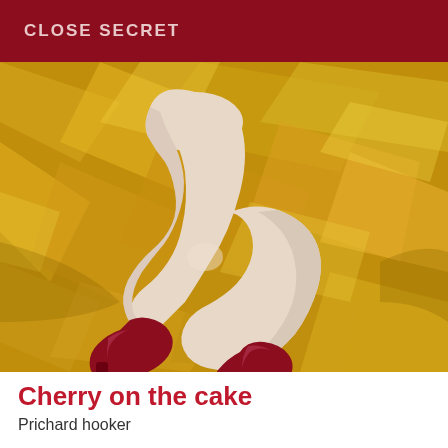CLOSE SECRET
[Figure (photo): Photo of legs wearing crimson/dark red high heel shoes, posed on a crinkled gold foil background. The image shows pale legs crossed, wearing deep red pumps, against a shimmering golden metallic surface.]
Cherry on the cake
Prichard hooker